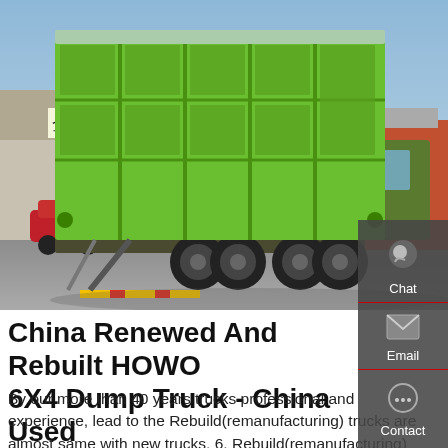[Figure (photo): Rear three-quarter view of a green HOWO 6X4 dump truck parked in a yard. The truck has a large green dump box with ribbed panels. Chinese text '全胜抛' visible on a building sign in the background. A red sedan is visible to the left. Background shows a warehouse and buildings under a blue sky.]
China Renewed And Rebuilt HOWO 6X4 Dump Truck - China Used
By our more than 40 years trucks professional and experience, lead to the Rebuild(remanufacturing) trucks are almost same with new trucks. 6. Rebuild(remanufacturing) truck brands, only FAW, DONGFENG, SINOTRUK, SHACMAN, only tractor